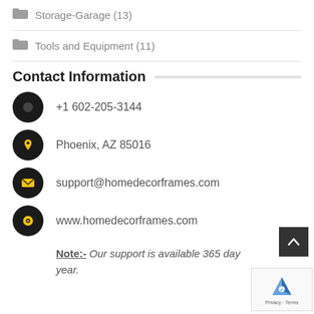Storage-Garage (13)
Tools and Equipment (11)
Contact Information
+1 602-205-3144
Phoenix, AZ 85016
support@homedecorframes.com
www.homedecorframes.com
Note:- Our support is available 365 days a year.